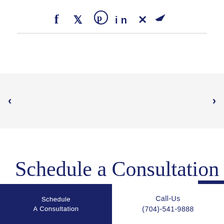[Figure (other): Social media share icons: Facebook, Twitter, Pinterest, LinkedIn, Xing, Email/Share — displayed as dark navy icon symbols in a row]
Schedule a Consultation
Schedule
A Consultation
Call-Us
(704)-541-9888